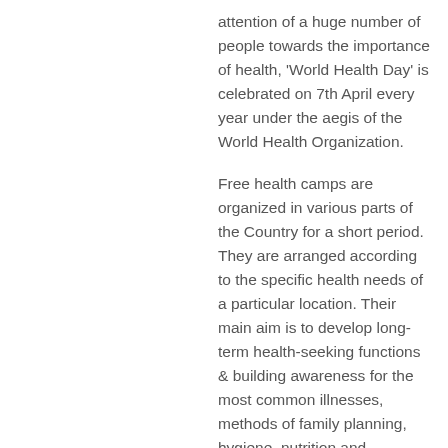attention of a huge number of people towards the importance of health, 'World Health Day' is celebrated on 7th April every year under the aegis of the World Health Organization.
Free health camps are organized in various parts of the Country for a short period. They are arranged according to the specific health needs of a particular location. Their main aim is to develop long-term health-seeking functions & building awareness for the most common illnesses, methods of family planning, hygiene, nutrition and sanitation.